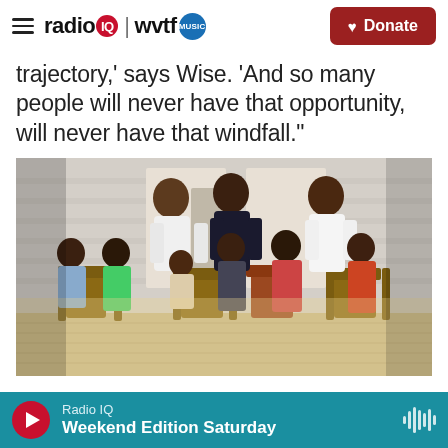radio IQ | wvtf MUSIC — Donate
trajectory,' says Wise. 'And so many people will never have that opportunity, will never have that windfall.'
[Figure (photo): A group of adults and children posing on a porch with rocking chairs, smiling and laughing]
Radio IQ — Weekend Edition Saturday